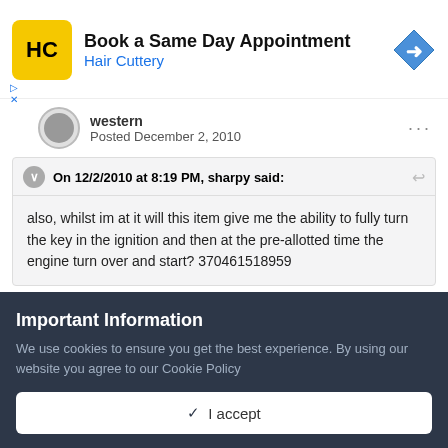[Figure (advertisement): Hair Cuttery ad banner with yellow HC logo, 'Book a Same Day Appointment' heading, 'Hair Cuttery' subheading in blue, and a blue diamond-shaped navigation icon]
western
Posted December 2, 2010
On 12/2/2010 at 8:19 PM, sharpy said:
also, whilst im at it will this item give me the ability to fully turn the key in the ignition and then at the pre-allotted time the engine turn over and start? 370461518959
Important Information
We use cookies to ensure you get the best experience. By using our website you agree to our Cookie Policy
✓ I accept